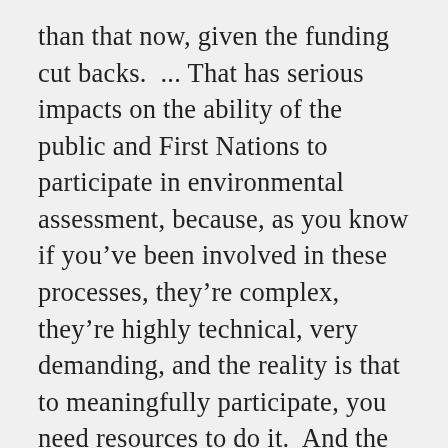than that now, given the funding cut backs.  ... That has serious impacts on the ability of the public and First Nations to participate in environmental assessment, because, as you know if you’ve been involved in these processes, they’re complex, they’re highly technical, very demanding, and the reality is that to meaningfully participate, you need resources to do it.  And the government agencies need resources as well, and we’re all aware of the funding cuts that they’ve experienced.